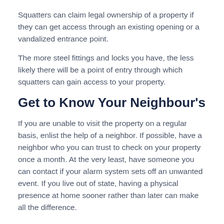Squatters can claim legal ownership of a property if they can get access through an existing opening or a vandalized entrance point.
The more steel fittings and locks you have, the less likely there will be a point of entry through which squatters can gain access to your property.
Get to Know Your Neighbour's
If you are unable to visit the property on a regular basis, enlist the help of a neighbor. If possible, have a neighbor who you can trust to check on your property once a month. At the very least, have someone you can contact if your alarm system sets off an unwanted event. If you live out of state, having a physical presence at home sooner rather than later can make all the difference.